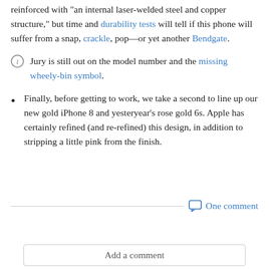reinforced with "an internal laser-welded steel and copper structure," but time and durability tests will tell if this phone will suffer from a snap, crackle, pop—or yet another Bendgate.
Jury is still out on the model number and the missing wheely-bin symbol.
Finally, before getting to work, we take a second to line up our new gold iPhone 8 and yesteryear's rose gold 6s. Apple has certainly refined (and re-refined) this design, in addition to stripping a little pink from the finish.
One comment
Add a comment